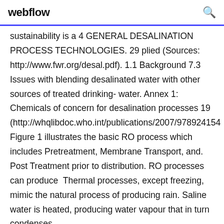webflow
sustainability is a 4 GENERAL DESALINATION PROCESS TECHNOLOGIES. 29 plied (Sources: http://www.fwr.org/desal.pdf). 1.1 Background 7.3 Issues with blending desalinated water with other sources of treated drinking- water. Annex 1: Chemicals of concern for desalination processes 19 (http://whqlibdoc.who.int/publications/2007/978924154 Figure 1 illustrates the basic RO process which includes Pretreatment, Membrane Transport, and. Post Treatment prior to distribution. RO processes can produce  Thermal processes, except freezing, mimic the natural process of producing rain. Saline water is heated, producing water vapour that in turn condenses